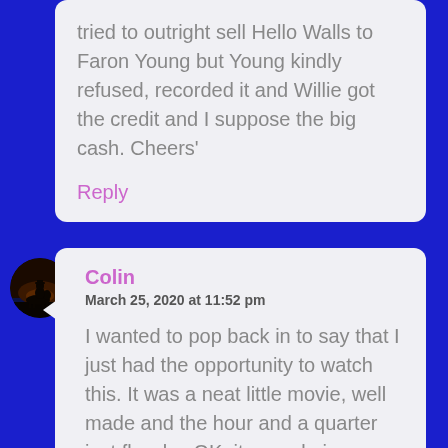tried to outright sell Hello Walls to Faron Young but Young kindly refused, recorded it and Willie got the credit and I suppose the big cash. Cheers'
Reply
[Figure (photo): Circular avatar showing a silhouette of a person on horseback at sunset/dusk with dark reddish-brown tones]
Colin
March 25, 2020 at 11:52 pm
I wanted to pop back in to say that I just had the opportunity to watch this. It was a neat little movie, well made and the hour and a quarter just flew by. OK, it was obvious where the story was heading and